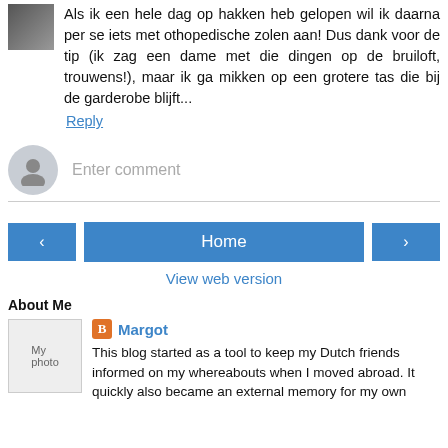Als ik een hele dag op hakken heb gelopen wil ik daarna per se iets met othopedische zolen aan! Dus dank voor de tip (ik zag een dame met die dingen op de bruiloft, trouwens!), maar ik ga mikken op een grotere tas die bij de garderobe blijft...
Reply
Enter comment
Home
View web version
About Me
Margot
This blog started as a tool to keep my Dutch friends informed on my whereabouts when I moved abroad. It quickly also became an external memory for my own